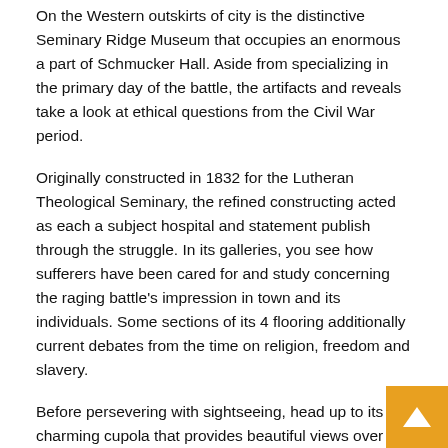On the Western outskirts of city is the distinctive Seminary Ridge Museum that occupies an enormous a part of Schmucker Hall. Aside from specializing in the primary day of the battle, the artifacts and reveals take a look at ethical questions from the Civil War period.
Originally constructed in 1832 for the Lutheran Theological Seminary, the refined constructing acted as each a subject hospital and statement publish through the struggle. In its galleries, you see how sufferers have been cared for and study concerning the raging battle's impression in town and its individuals. Some sections of its 4 flooring additionally current debates from the time on religion, freedom and slavery.
Before persevering with sightseeing, head up to its charming cupola that provides beautiful views over the encircling space. As it clearly explains the outbreak of the battle, it's once more properly price visiting the museum earlier than touring across the city's large army park